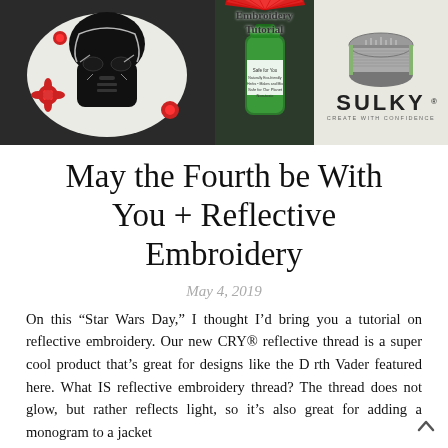[Figure (photo): Collage of three images: left shows a Darth Vader embroidery patch on grey fabric with red floral accents; center shows a green spray can (embroidery product) with a red fan/flower decoration and overlay text 'Embroidery Tutorial'; right shows a spool of grey thread with a Sulky brand logo and tagline 'CREATE WITH CONFIDENCE'.]
May the Fourth be With You + Reflective Embroidery
May 4, 2019
On this “Star Wars Day,” I thought I’d bring you a tutorial on reflective embroidery. Our new CRY® reflective thread is a super cool product that’s great for designs like the Darth Vader featured here. What IS reflective embroidery thread? The thread does not glow, but rather reflects light, so it’s also great for adding a monogram to a jacket